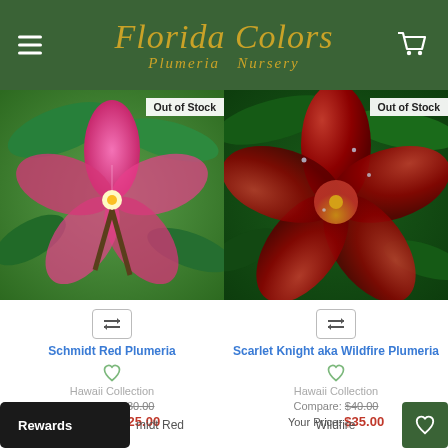Florida Colors Plumeria Nursery
[Figure (photo): Pink plumeria flower with green leaves - Schmidt Red Plumeria. Badge: Out of Stock]
[Figure (photo): Deep red/crimson plumeria flower with water droplets - Scarlet Knight aka Wildfire Plumeria. Badge: Out of Stock]
Schmidt Red Plumeria
Hawaii Collection
Compare: $30.00
Your Price: $25.00
Scarlet Knight aka Wildfire Plumeria
Hawaii Collection
Compare: $40.00
Your Price: $35.00
Rewards
midt Red
Wildfire